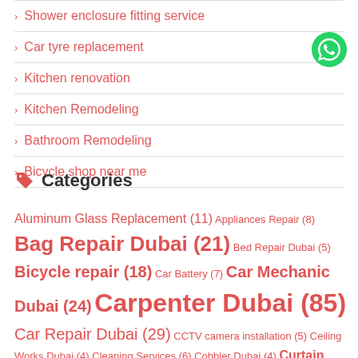Shower enclosure fitting service
Car tyre replacement
Kitchen renovation
Kitchen Remodeling
Bathroom Remodeling
Bicycle shop near me
Categories
Aluminum Glass Replacement (11) Appliances Repair (8) Bag Repair Dubai (21) Bed Repair Dubai (5) Bicycle repair (18) Car Battery (7) Car Mechanic Dubai (24) Carpenter Dubai (85) Car Repair Dubai (29) CCTV camera installation (5) Ceiling Works Dubai (4) Cleaning Services (6) Cobbler Dubai (4) Curtain Dubai (13) Door frame repair (5) Door Repair Dubai (25) Electrician Dubai (39) Emergency Services (10) Furniture Assembling (19) furniture makers dubai (9) Garage Door Dubai (13) Garden maintenance (31) Glass door repair (31) Glasses Repair Dubai (6) glass shelf's (13) Glass works Dubai (36)